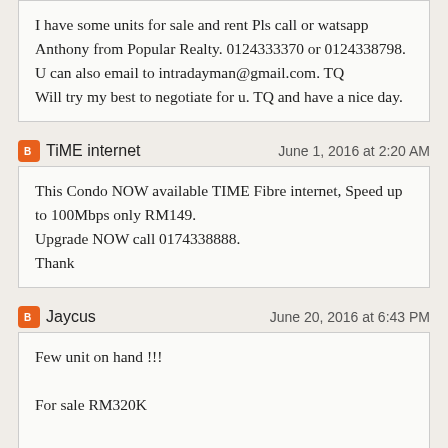I have some units for sale and rent Pls call or watsapp Anthony from Popular Realty. 0124333370 or 0124338798. U can also email to intradayman@gmail.com. TQ
Will try my best to negotiate for u. TQ and have a nice day.
TiME internet — June 1, 2016 at 2:20 AM
This Condo NOW available TIME Fibre internet, Speed up to 100Mbps only RM149.
Upgrade NOW call 0174338888.
Thank
Jaycus — June 20, 2016 at 6:43 PM
Few unit on hand !!!

For sale RM320K

Kindly contact Jaycus 0172262899